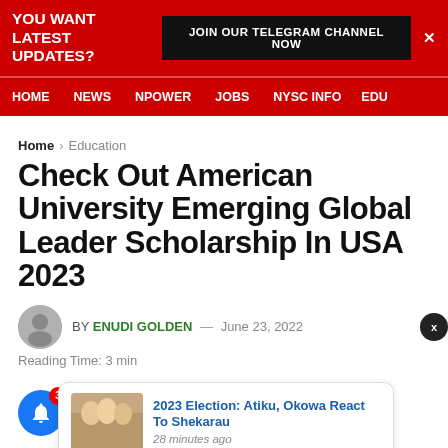YOU WANT LATEST UPDATES? JOIN OUR TELEGRAM CHANNEL NOW
HOME  NEWS  NPOWER  JOBS  NYSC INFO  EDU
Home > Education
Check Out American University Emerging Global Leader Scholarship In USA 2023
BY ENUDI GOLDEN — June 23, 2022
Reading Time: 3 min
2023 Election: Atiku, Okowa React To Shekarau
28 minutes ago